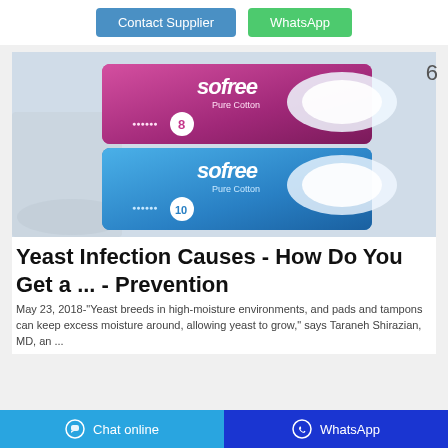Contact Supplier
WhatsApp
[Figure (photo): Two packages of Sofree Pure Cotton sanitary pads stacked on each other, on a light blue background. Top package is pink/magenta color labeled '8', bottom is blue labeled '10'.]
Yeast Infection Causes - How Do You Get a ... - Prevention
May 23, 2018-"Yeast breeds in high-moisture environments, and pads and tampons can keep excess moisture around, allowing yeast to grow," says Taraneh Shirazian, MD, an ...
Chat online | WhatsApp